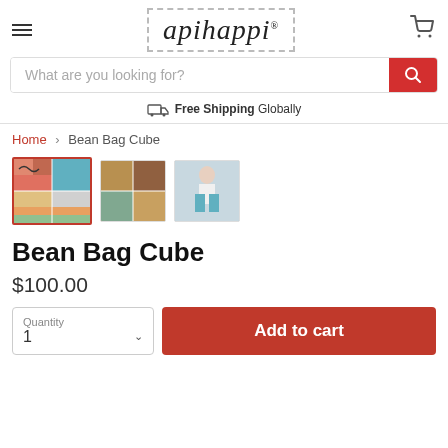[Figure (logo): Apihappi brand logo in cursive/script font inside a dashed border rectangle]
What are you looking for?
Free Shipping Globally
Home > Bean Bag Cube
[Figure (photo): Three product thumbnail images of colorful bean bag cube furniture — first image selected with red border showing multicolor cube arrangement, second showing tan/brown/teal cubes, third showing a person sitting]
Bean Bag Cube
$100.00
Quantity 1
Add to cart